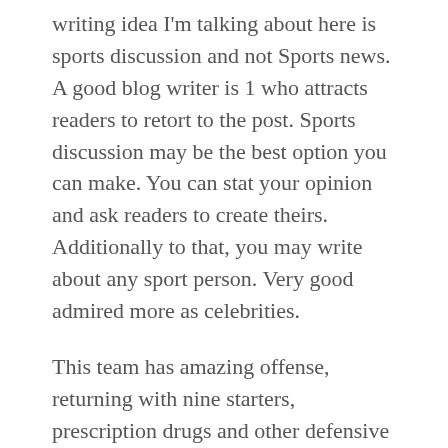writing idea I'm talking about here is sports discussion and not Sports news. A good blog writer is 1 who attracts readers to retort to the post. Sports discussion may be the best option you can make. You can stat your opinion and ask readers to create theirs. Additionally to that, you may write about any sport person. Very good admired more as celebrities.
This team has amazing offense, returning with nine starters, prescription drugs and other defensive only returns with two starters. USC may have lost a lot of talent yet again, but this definitely won't be a problem for USC Trojans will never go short when reloading on talent. Allow us to wait and see.
This is an extremely important point which many fail to look out on. With the change in the management, a contact change associated with strategy and game goal.